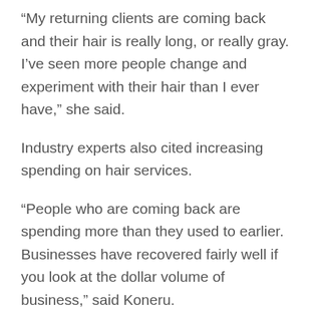“My returning clients are coming back and their hair is really long, or really gray. I’ve seen more people change and experiment with their hair than I ever have,” she said.
Industry experts also cited increasing spending on hair services.
“People who are coming back are spending more than they used to earlier. Businesses have recovered fairly well if you look at the dollar volume of business,” said Koneru.
But even as they head back to salons, many consumers are still concerned about the virus and want stylists to maintain social distancing and sanitation practices that limit the number of guests businesses can serve in a single day. For self-employed stylists or small businesses, this is a particular